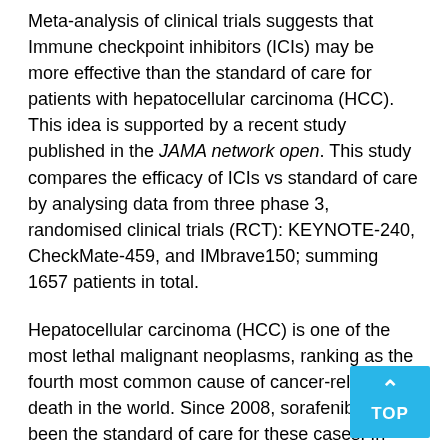Meta-analysis of clinical trials suggests that Immune checkpoint inhibitors (ICIs) may be more effective than the standard of care for patients with hepatocellular carcinoma (HCC). This idea is supported by a recent study published in the JAMA network open. This study compares the efficacy of ICIs vs standard of care by analysing data from three phase 3, randomised clinical trials (RCT): KEYNOTE-240, CheckMate-459, and IMbrave150; summing 1657 patients in total.
Hepatocellular carcinoma (HCC) is one of the most lethal malignant neoplasms, ranking as the fourth most common cause of cancer-related death in the world. Since 2008, sorafenib has been the standard of care for these cases. In recent years, ICIs like pembrolizumab, nivolumab or atezolizumab ushered in a new era in cancer therapy, but efficacy in HCC is uncertain. In the KEYNOTE-240,